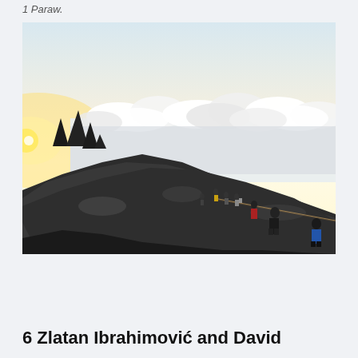1 Paraw.
[Figure (photo): High-altitude mountain scene showing climbers ascending a steep granite slope above a sea of clouds. Rocky spires visible on the upper left against a bright sky. Several hikers visible on the path, one in yellow jacket, one in blue jacket.]
6 Zlatan Ibrahimović and David